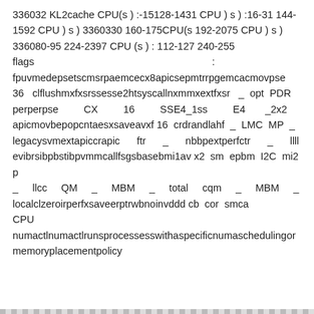336032 KL2cache CPU(s ) :-15⁠128-143⁠⁠1 CPU ) s ) :16-31⁠ 144-159⁠⁠2 CPU ) s ) 3360330 160-175⁠⁠CPU(s 192-207⁠⁠5 CPU ) s ) 336080-95 224-239⁠⁠7 CPU (s ) : 112-127⁠ 240-255 flags                                                           : fpuvmedepsetscmsrpaemcecx8apicsepmtrrpgemcacmovpse 36   clflushmxfxsrssesse2htsyscallnxmmxextfxsr   _  opt  PDR perperpse         CX         16         SSE4_1ss         E4       _2x2 apicmovbepopcntaesxsaveavxf  16  crdrandlahf  _  LMC  MP  _ legacysvmextapiccrapic      ftr      _      nbbpextperfctr      _      llll evibrsibpbstibpvmmcallfsgsbasebmi1av x2  sm  epbm  I2C  mi2p _     llcc     QM     _     MBM     _     total     cqm     _     MBM     _ localclzeroirperfxsaveerptrwbnoinvddd  ⁠⁠⁠⁠⁠cb  cor  smca⁠⁠⁠⁠⁠ CPU                        ⁠                        ⁠                        ⁠ numactlnumactlrunsprocessesswithaspecificnumaschedulingor memoryplacementpolicy⁠